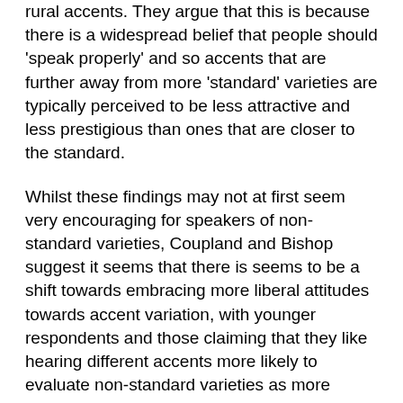rural accents. They argue that this is because there is a widespread belief that people should 'speak properly' and so accents that are further away from more 'standard' varieties are typically perceived to be less attractive and less prestigious than ones that are closer to the standard.
Whilst these findings may not at first seem very encouraging for speakers of non-standard varieties, Coupland and Bishop suggest it seems that there is seems to be a shift towards embracing more liberal attitudes towards accent variation, with younger respondents and those claiming that they like hearing different accents more likely to evaluate non-standard varieties as more prestigious and more socially attractive. So, it seems that although some people might think of certain accents as more attractive or prestigious than others, perceptions are gradually changing.
Given the fourteen or so years since Coupland and Bishop conducted their study, it's worth considering whether this liberal outlook has continued. Over the next couple of weeks, we'll be focusing on the Accent Bias in Britain project which, among other questions, sought to investigate this issue. In the meantime, or more information on the project, you can visit the Accent Bias in Britain homepage. You can also find further educational resources, including a Language